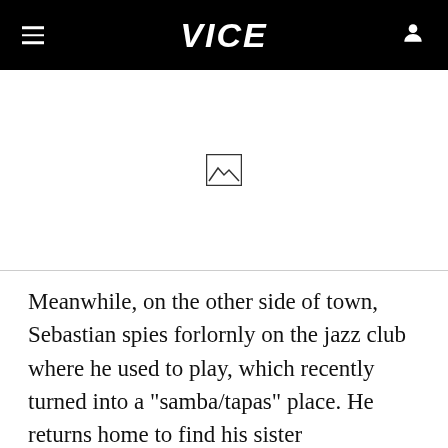VICE
[Figure (photo): Image placeholder with mountain/landscape icon]
Meanwhile, on the other side of town, Sebastian spies forlornly on the jazz club where he used to play, which recently turned into a "samba/tapas" place. He returns home to find his sister unceremoniously sitting on the stool that Hoagy Carmichael used to play on, scolds